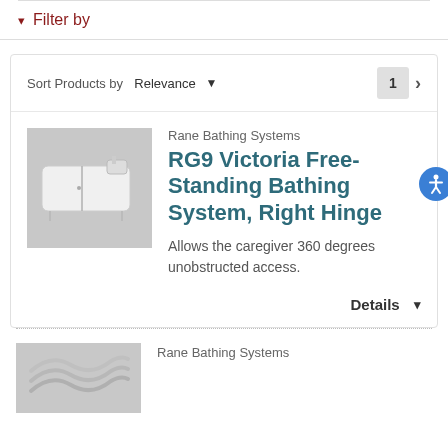▾ Filter by
Sort Products by  Relevance  ▾   1  >
Rane Bathing Systems
RG9 Victoria Free-Standing Bathing System, Right Hinge
Allows the caregiver 360 degrees unobstructed access.
Details ▾
[Figure (photo): White free-standing bathing system with right hinge door]
Rane Bathing Systems
[Figure (photo): Rane Bathing Systems logo placeholder with wave lines]